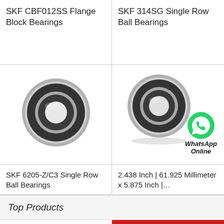SKF CBF012SS Flange Block Bearings
SKF 314SG Single Row Ball Bearings
[Figure (photo): Ball bearing viewed from front, round with black rubber seal and metallic gray ring]
[Figure (photo): Ball bearing viewed at angle with WhatsApp Online overlay icon]
SKF 6205-Z/C3 Single Row Ball Bearings
2.438 Inch | 61.925 Millimeter x 5.875 Inch |…
Top Products
All Products
Contact Now